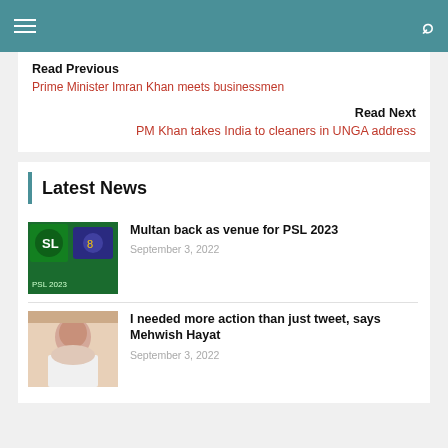Navigation bar with hamburger menu and search icon
Read Previous
Prime Minister Imran Khan meets businessmen
Read Next
PM Khan takes India to cleaners in UNGA address
Latest News
Multan back as venue for PSL 2023
September 3, 2022
I needed more action than just tweet, says Mehwish Hayat
September 3, 2022